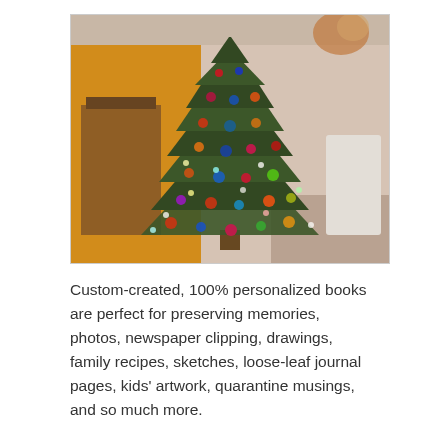[Figure (photo): A blurry photo of a Christmas tree decorated with colorful ornaments, set in a home interior with orange/yellow walls and furniture visible in the background.]
Custom-created, 100% personalized books are perfect for preserving memories, photos, newspaper clipping, drawings, family recipes, sketches, loose-leaf journal pages, kids' artwork, quarantine musings, and so much more.